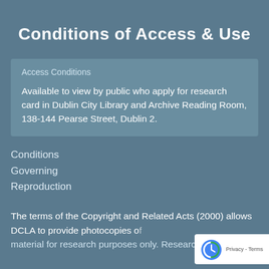Conditions of Access & Use
Access Conditions
Available to view by public who apply for research card in Dublin City Library and Archive Reading Room, 138-144 Pearse Street, Dublin 2.
Conditions
Governing
Reproduction
The terms of the Copyright and Related Acts (2000) allows DCLA to provide photocopies of material for research purposes only. Researchers